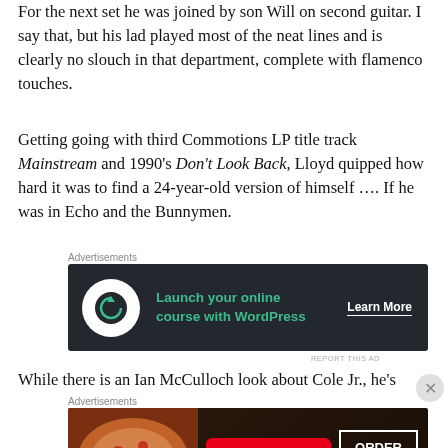For the next set he was joined by son Will on second guitar. I say that, but his lad played most of the neat lines and is clearly no slouch in that department, complete with flamenco touches.
Getting going with third Commotions LP title track Mainstream and 1990's Don't Look Back, Lloyd quipped how hard it was to find a 24-year-old version of himself …. If he was in Echo and the Bunnymen.
[Figure (other): Advertisement banner for launching online courses with WordPress — dark background, green text, Learn More button]
While there is an Ian McCulloch look about Cole Jr., he's
[Figure (other): Advertisement banner for Seamless food delivery — pizza image, red Seamless badge, ORDER NOW button]